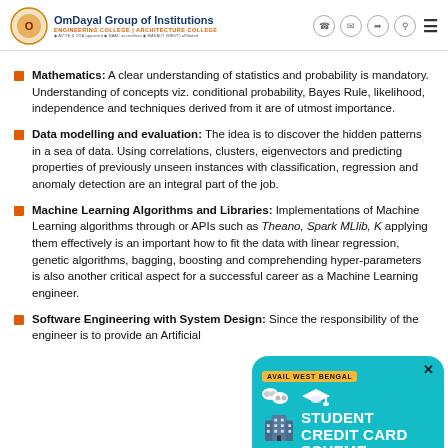OmDayal Group of Institutions | ENGINEERING COLLEGE | ARCHITECTURE COLLEGE
Mathematics: A clear understanding of statistics and probability is mandatory. Understanding of concepts viz. conditional probability, Bayes Rule, likelihood, independence and techniques derived from it are of utmost importance.
Data modelling and evaluation: The idea is to discover the hidden patterns in a sea of data. Using correlations, clusters, eigenvectors and predicting properties of previously unseen instances with classification, regression and anomaly detection are an integral part of the job.
Machine Learning Algorithms and Libraries: Implementations of Machine Learning algorithms through or APIs such as Theano, Spark MLlib, applying them effectively is an important how to fit the data with linear regress genetic algorithms, bagging, boosting and comprehending hyper-parameters is also another critical aspect for a successful career as a Machine Learning engineer.
[Figure (infographic): AVAIL WEST BENGAL STUDENT CREDIT CARD SCHEME advertisement popup with teal background, graduation cap icon, building icon, and orange APPLY NOW button]
Software Engineering with System Design: Since the responsibility of the engineer is to provide an Artificial